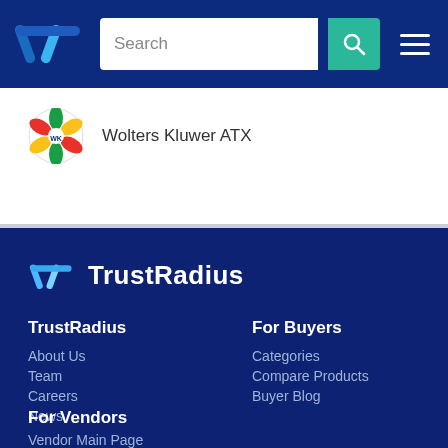[Figure (logo): TrustRadius TR logo in blue navigation bar]
Search
Wolters Kluwer ATX
[Figure (logo): TrustRadius footer logo with TR icon and TrustRadius text in white]
TrustRadius
About Us
Team
Careers
News
For Buyers
Categories
Compare Products
Buyer Blog
For Vendors
Vendor Main Page